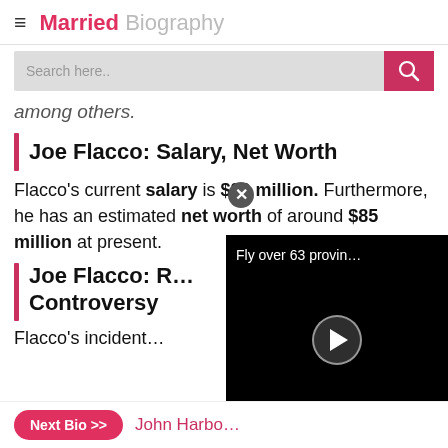Married Biography
among others.
Joe Flacco: Salary, Net Worth
Flacco's current salary is $20 million. Furthermore, he has an estimated net worth of around $85 million at present.
Joe Flacco: R… Controversy
Flacco's incident…
[Figure (screenshot): Embedded video player showing 'Fly over 63 provin...' with play button on black background]
Next Bio >> John Harbo…